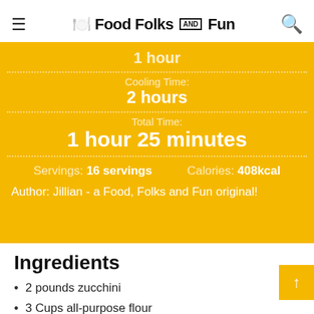Food Folks and Fun
1 hour
Cooling Time: 2 hours
Total Time: 1 hour 25 minutes
Servings: 16 servings   Calories: 408kcal
Author: Jillian - a Food, Folks and Fun original!
Ingredients
2 pounds zucchini
3 Cups all-purpose flour
1 Cup whole wheat flour
1 ½ cups granulated sugar